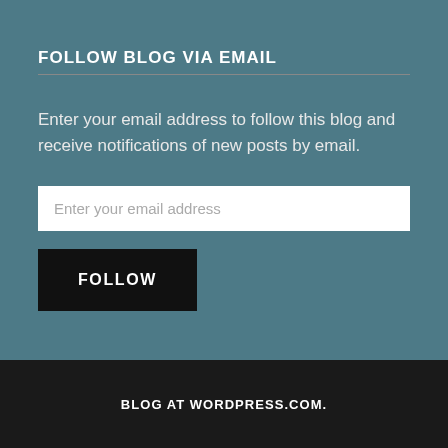FOLLOW BLOG VIA EMAIL
Enter your email address to follow this blog and receive notifications of new posts by email.
Enter your email address
FOLLOW
Join 1,080 other followers
BLOG AT WORDPRESS.COM.